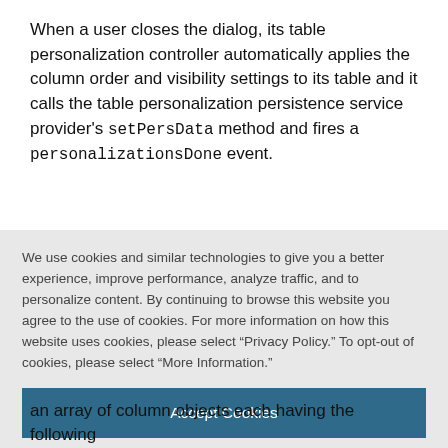When a user closes the dialog, its table personalization controller automatically applies the column order and visibility settings to its table and it calls the table personalization persistence service provider's setPersData method and fires a personalizationsDone event.
We use cookies and similar technologies to give you a better experience, improve performance, analyze traffic, and to personalize content. By continuing to browse this website you agree to the use of cookies. For more information on how this website uses cookies, please select “Privacy Policy.” To opt-out of cookies, please select “More Information.”
Accept Cookies
More Information
Privacy Policy | Powered by: TrustArc
an array of column objects each having the following